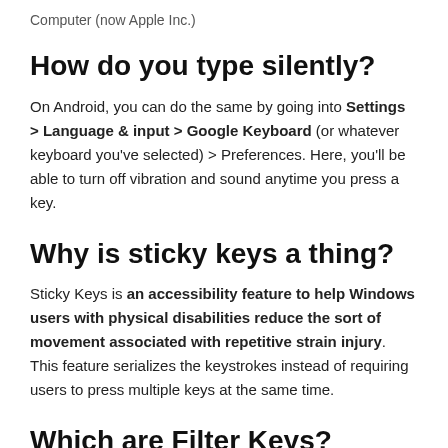Computer (now Apple Inc.)
How do you type silently?
On Android, you can do the same by going into Settings > Language & input > Google Keyboard (or whatever keyboard you've selected) > Preferences. Here, you'll be able to turn off vibration and sound anytime you press a key.
Why is sticky keys a thing?
Sticky Keys is an accessibility feature to help Windows users with physical disabilities reduce the sort of movement associated with repetitive strain injury. This feature serializes the keystrokes instead of requiring users to press multiple keys at the same time.
Which are Filter Keys?